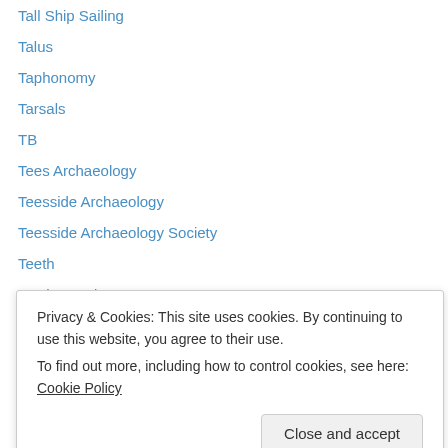Tall Ship Sailing
Talus
Taphonomy
Tarsals
TB
Tees Archaeology
Teesside Archaeology
Teesside Archaeology Society
Teeth
Teeth Development
Teffi
Temporal
Teotihuacan Society
Teotihuacán
Privacy & Cookies: This site uses cookies. By continuing to use this website, you agree to their use.
To find out more, including how to control cookies, see here: Cookie Policy
The Empty Quarter